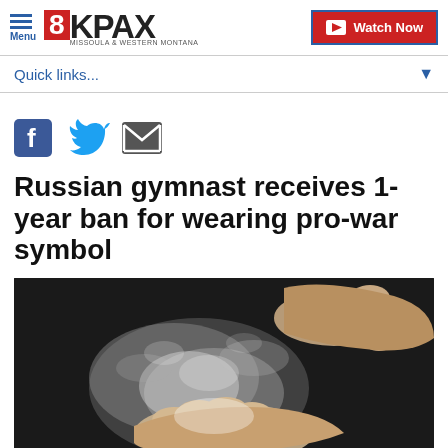Menu | 8KPAX Missoula & Western Montana | Watch Now
Quick links...
[Figure (infographic): Social share icons: Facebook, Twitter, Email]
Russian gymnast receives 1-year ban for wearing pro-war symbol
[Figure (photo): Close-up photo of gymnast hands with chalk powder cloud on dark background]